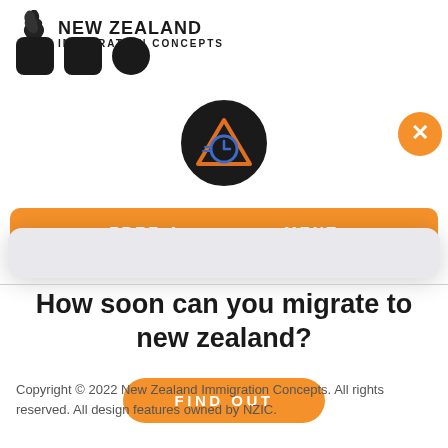[Figure (logo): New Zealand Immigration Concepts logo with NZ map silhouette and text NEW ZEALAND IMMIGRATION CONCEPTS]
[Figure (screenshot): A modal popup dialog with dark circle icon (triangle with clock symbol), close X button in orange circle, heading 'How soon can you migrate to new zealand?', and an orange FIND OUT button. Behind the modal is an orange FREE ASSESSMENT banner.]
Copyright © 2022 New Zealand Immigration Concepts. All rights reserved. All design features owned by NZIC.